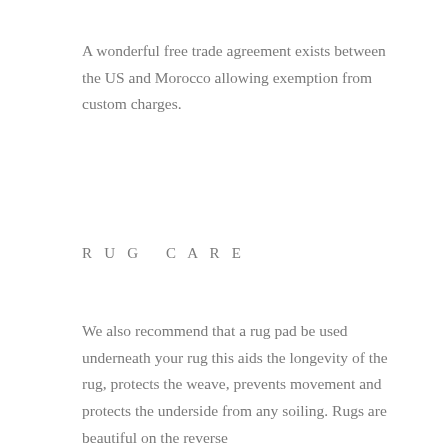A wonderful free trade agreement exists between the US and Morocco allowing exemption from custom charges.
RUG CARE
We also recommend that a rug pad be used underneath your rug this aids the longevity of the rug, protects the weave, prevents movement and protects the underside from any soiling. Rugs are beautiful on the reverse